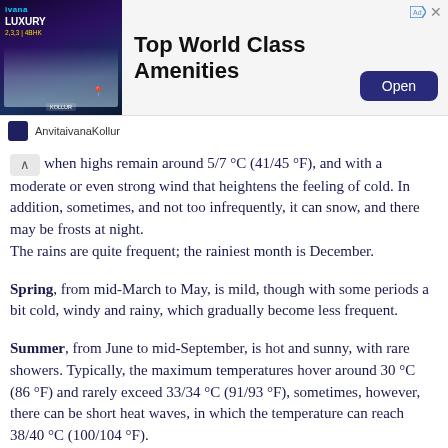[Figure (screenshot): Advertisement banner for Ivana luxury apartments in Kollur with 'Top World Class Amenities' heading and Open button]
when highs remain around 5/7 °C (41/45 °F), and with a moderate or even strong wind that heightens the feeling of cold. In addition, sometimes, and not too infrequently, it can snow, and there may be frosts at night.
The rains are quite frequent; the rainiest month is December.
Spring, from mid-March to May, is mild, though with some periods a bit cold, windy and rainy, which gradually become less frequent.
Summer, from June to mid-September, is hot and sunny, with rare showers. Typically, the maximum temperatures hover around 30 °C (86 °F) and rarely exceed 33/34 °C (91/93 °F), sometimes, however, there can be short heat waves, in which the temperature can reach 38/40 °C (100/104 °F).
Autumn, from mid-September to November, is pleasantly warm at first, then gradually becomes milder. The rains gradually become more frequent, although in September and the first half of October